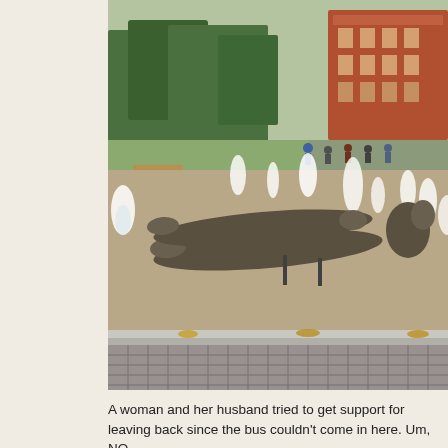[Figure (photo): Outdoor photo of a public fountain plaza. In the center are elongated bronze sculptures of reclining human figures floating horizontally, with water jets around them. In the background are green trees, people walking, benches, and a red-brick building. The foreground shows a large area of grey cobblestone paving.]
A woman and her husband tried to get support for leaving back since the bus couldn't come in here. Um, NO
We had some free time. No shopping in Germany on Sun